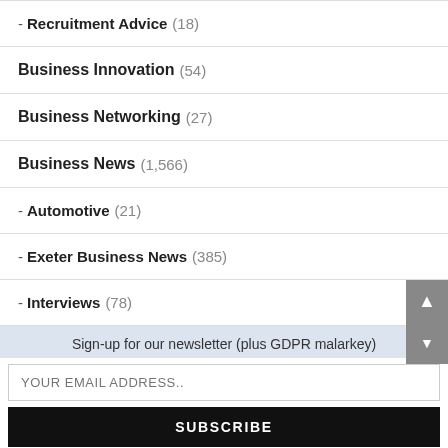- Recruitment Advice (18)
Business Innovation (54)
Business Networking (27)
Business News (1,566)
- Automotive (21)
- Exeter Business News (385)
- Interviews (78)
Sign-up for our newsletter (plus GDPR malarkey)
YOUR EMAIL ADDRESS..
SUBSCRIBE